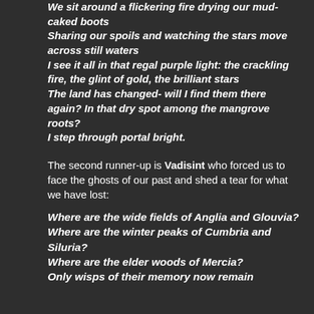We sit around a flickering fire drying our mud-caked boots
Sharing our spoils and watching the stars move across still waters
I see it all in that regal purple light: the crackling fire, the glint of gold, the brilliant stars
The land has changed- will I find them there again? In that dry spot among the mangrove roots?
I step through portal bright.
The second runner-up is Vadisint who forced us to face the ghosts of our past and shed a tear for what we have lost:
Where are the wide fields of Anglia and Glouvia?
Where are the winter peaks of Cumbria and Siluria?
Where are the elder woods of Mercia?
Only wisps of their memory now remain